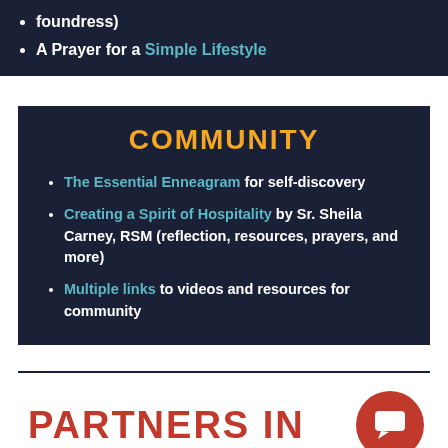foundress)
A Prayer for a Simple Lifestyle
COMMUNITY
The Essential Enneagram for self-discovery
Creating a Spirit of Hospitality by Sr. Sheila Carney, RSM (reflection, resources, prayers, and more)
Multiple links to videos and resources for community
PARTNERS IN